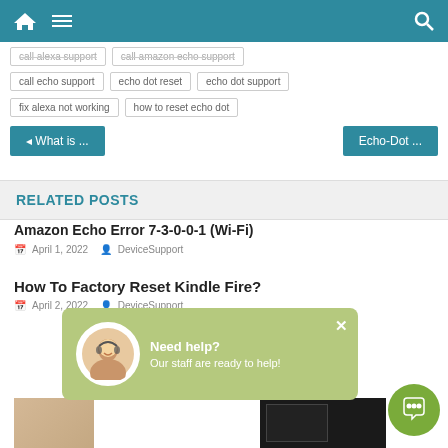[Figure (screenshot): Website navigation bar with home icon, hamburger menu, and search icon on teal background]
call alexa support
call amazon echo support
call echo support
echo dot reset
echo dot support
fix alexa not working
how to reset echo dot
◄ What is ...
Echo-Dot ...
RELATED POSTS
Amazon Echo Error 7-3-0-0-1 (Wi-Fi)
April 1, 2022   DeviceSupport
How To Factory Reset Kindle Fire?
April 2, 2022   DeviceSupport
[Figure (infographic): Green chat popup overlay with avatar, saying Need Help? Our staff are ready to help!, with close button and green chat icon button]